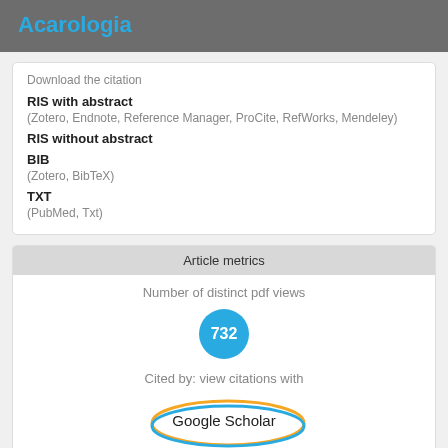Acarologia
Download the citation
RIS with abstract
(Zotero, Endnote, Reference Manager, ProCite, RefWorks, Mendeley)
RIS without abstract
BIB
(Zotero, BibTeX)
TXT
(PubMed, Txt)
Article metrics
Number of distinct pdf views
732
Cited by: view citations with
Google Scholar